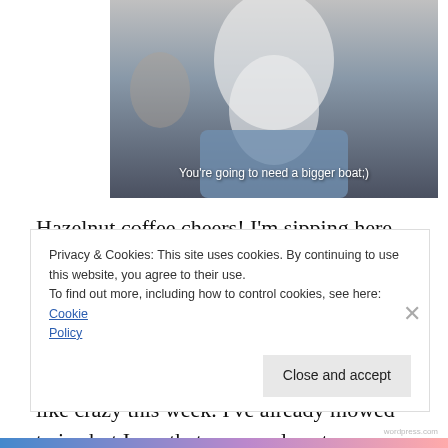[Figure (photo): Photo of an elderly man with a large white beard wearing a light blue jacket, with a caption overlay at the bottom reading: You're going to need a bigger boat;)]
Hazelnut coffee cheers! I'm sipping here after an active morning of getting the dogs around and fed. We've had some passing storms that last two days including a tornado up North in Gaylord. The clover seed we put around the yard should take off like crazy this week. I've already mowed twice but I see that we are close to
Privacy & Cookies: This site uses cookies. By continuing to use this website, you agree to their use.
To find out more, including how to control cookies, see here: Cookie Policy
Close and accept